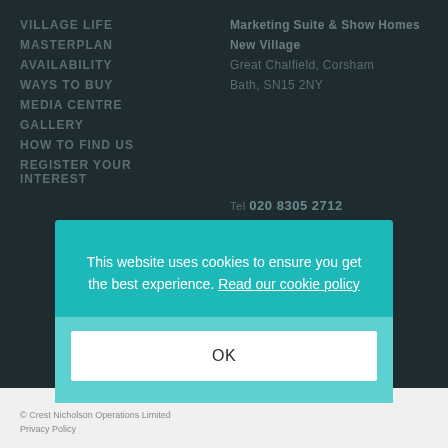VILLAGE LIFE
MASTERPLAN
AVAILABILITY
WAYS TO BUY
MEDIA CENTRE
GALLERY
HOW TO FIND US
REGISTER YOUR INTEREST
Marketing Suite & Show Homes New Village
Great Chalfield, Corsham
Bath, SN15 2NY
Tel: 020 8305 2712
Email: GMV@CPPLC.COM
This website uses cookies to ensure you get the best experience. Read our cookie policy
OK